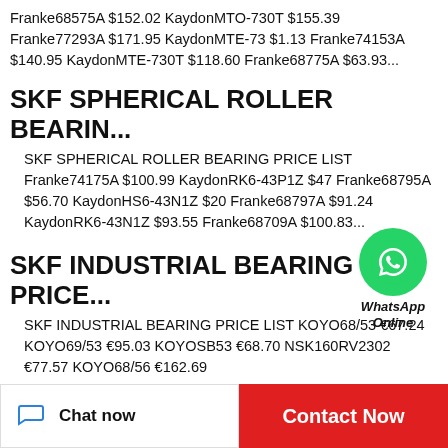Franke68575A $152.02 KaydonMTO-730T $155.39 Franke77293A $171.95 KaydonMTE-73 $1.13 Franke74153A $140.95 KaydonMTE-730T $118.60 Franke68775A $63.93...
SKF SPHERICAL ROLLER BEARIN...
SKF SPHERICAL ROLLER BEARING PRICE LIST Franke74175A $100.99 KaydonRK6-43P1Z $4...7 Franke68795A $56.70 KaydonHS6-43N1Z $2...0 Franke68797A $91.24 KaydonRK6-43N1Z $93.55 Franke68709A $100.83...
[Figure (other): WhatsApp Online chat bubble, green circular icon with white phone handset, labeled WhatsApp Online in italic bold text]
SKF INDUSTRIAL BEARING PRICE...
SKF INDUSTRIAL BEARING PRICE LIST KOYO68/53 €67.24 KOYO69/53 €95.03 KOYOSB53 €68.70 NSK160RV2302 €77.57 KOYO68/56 €162.69
Chat now | Contact Now